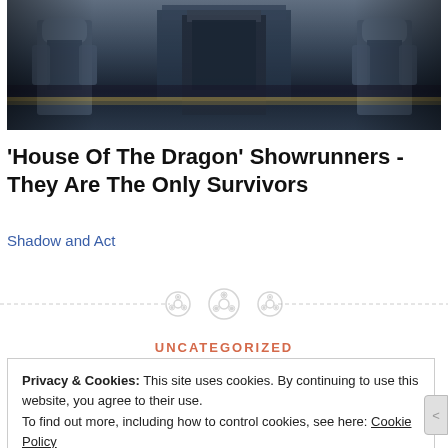[Figure (photo): Dark fantasy TV show scene with armored figures in front of a throne or structure, dark blue-grey tones]
'House Of The Dragon' Showrunners - They Are The Only Survivors
Shadow and Act
[Figure (other): Decorative divider with three film reel / button icons and dashed lines on either side]
UNCATEGORIZED
Privacy & Cookies: This site uses cookies. By continuing to use this website, you agree to their use.
To find out more, including how to control cookies, see here: Cookie Policy
Close and accept